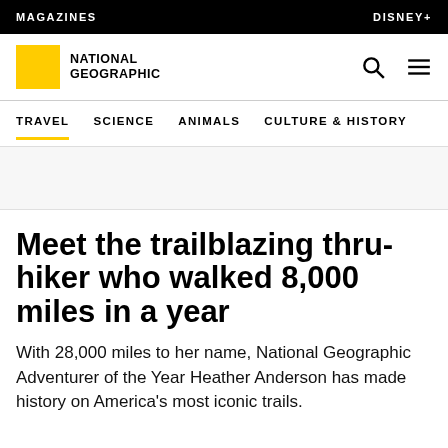MAGAZINES | DISNEY+
[Figure (logo): National Geographic logo: yellow square icon with NATIONAL GEOGRAPHIC text, search icon, and hamburger menu]
TRAVEL  SCIENCE  ANIMALS  CULTURE & HISTORY
Meet the trailblazing thru-hiker who walked 8,000 miles in a year
With 28,000 miles to her name, National Geographic Adventurer of the Year Heather Anderson has made history on America's most iconic trails.